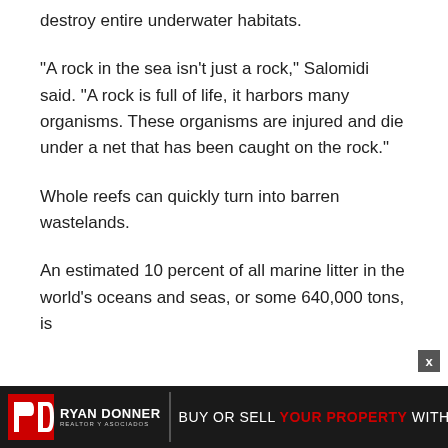destroy entire underwater habitats.
“A rock in the sea isn’t just a rock,” Salomidi said. “A rock is full of life, it harbors many organisms. These organisms are injured and die under a net that has been caught on the rock.”
Whole reefs can quickly turn into barren wastelands.
An estimated 10 percent of all marine litter in the world’s oceans and seas, or some 640,000 tons, is
[Figure (logo): Ryan Donner Realtor y Asociados advertisement banner: logo on left with RD monogram, text reads BUY OR SELL YOUR PROPERTY WITH US]